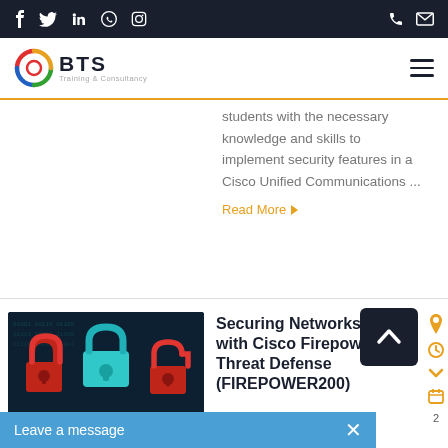BTS Training & Consultancy - Social icons header bar
[Figure (logo): BTS Training & Consultancy logo with circular swirl icon]
students with the necessary knowledge and skills to implement security features in a Cisco Unified Communications ...
Read More
[Figure (photo): Dark background with red and cyan padlock icons representing cybersecurity]
Securing Networks with Cisco Firepower Threat Defense (FIREPOWER200)
Leave a message